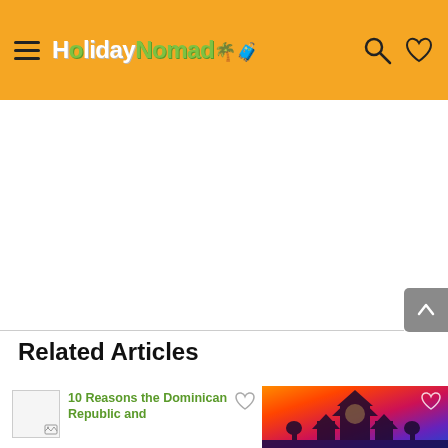HolidayNomad
Related Articles
10 Reasons the Dominican Republic and
[Figure (photo): Travel destination photo with orange-red sunset sky and city/temple silhouette]